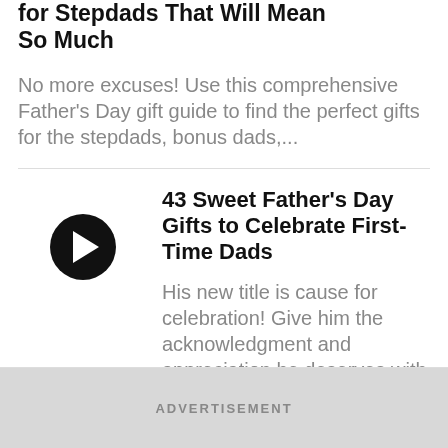for Stepdads That Will Mean So Much
No more excuses! Use this comprehensive Father's Day gift guide to find the perfect gifts for the stepdads, bonus dads,...
43 Sweet Father's Day Gifts to Celebrate First-Time Dads
His new title is cause for celebration! Give him the acknowledgment and appreciation he deserves with one of these thoughtful...
ADVERTISEMENT